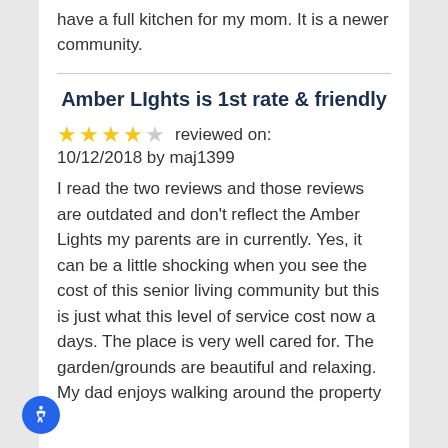have a full kitchen for my mom. It is a newer community.
Amber LIghts is 1st rate & friendly
reviewed on: 10/12/2018 by maj1399
I read the two reviews and those reviews are outdated and don't reflect the Amber Lights my parents are in currently. Yes, it can be a little shocking when you see the cost of this senior living community but this is just what this level of service cost now a days. The place is very well cared for. The garden/grounds are beautiful and relaxing. My dad enjoys walking around the property